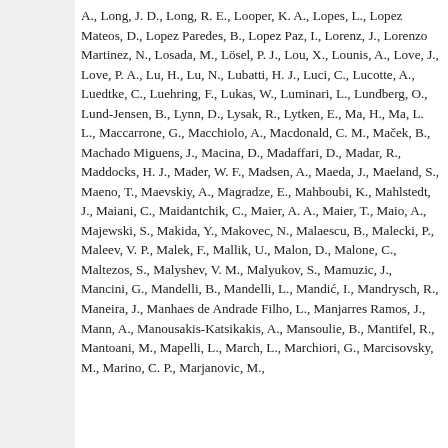A., Long, J. D., Long, R. E., Looper, K. A., Lopes, L., Lopez Mateos, D., Lopez Paredes, B., Lopez Paz, I., Lorenz, J., Lorenzo Martinez, N., Losada, M., Lösel, P. J., Lou, X., Lounis, A., Love, J., Love, P. A., Lu, H., Lu, N., Lubatti, H. J., Luci, C., Lucotte, A., Luedtke, C., Luehring, F., Lukas, W., Luminari, L., Lundberg, O., Lund-Jensen, B., Lynn, D., Lysak, R., Lytken, E., Ma, H., Ma, L. L., Maccarrone, G., Macchiolo, A., Macdonald, C. M., Maček, B., Machado Miguens, J., Macina, D., Madaffari, D., Madar, R., Maddocks, H. J., Mader, W. F., Madsen, A., Maeda, J., Maeland, S., Maeno, T., Maevskiy, A., Magradze, E., Mahboubi, K., Mahlstedt, J., Maiani, C., Maidantchik, C., Maier, A. A., Maier, T., Maio, A., Majewski, S., Makida, Y., Makovec, N., Malaescu, B., Malecki, P., Maleev, V. P., Malek, F., Mallik, U., Malon, D., Malone, C., Maltezos, S., Malyshev, V. M., Malyukov, S., Mamuzic, J., Mancini, G., Mandelli, B., Mandelli, L., Mandić, I., Mandrysch, R., Maneira, J., Manhaes de Andrade Filho, L., Manjarres Ramos, J., Mann, A., Manousakis-Katsikakis, A., Mansoulie, B., Mantifel, R., Mantoani, M., Mapelli, L., March, L., Marchiori, G., Marcisovsky, M., Marino, C. P., Marjanovic, M.,